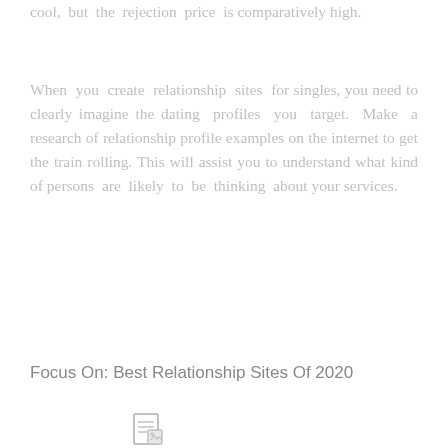cool, but the rejection price is comparatively high.
When you create relationship sites for singles, you need to clearly imagine the dating profiles you target. Make a research of relationship profile examples on the internet to get the train rolling. This will assist you to understand what kind of persons are likely to be thinking about your services.
Focus On: Best Relationship Sites Of 2020
[Figure (illustration): Small document/image icon at bottom of page]